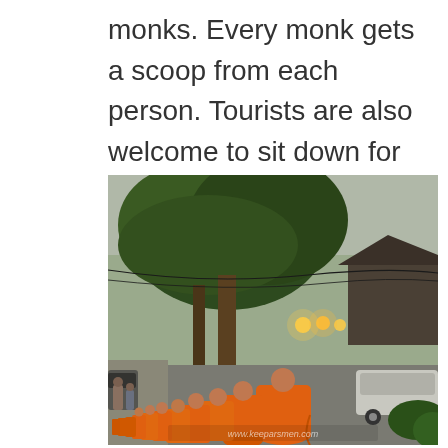monks. Every monk gets a scoop from each person. Tourists are also welcome to sit down for offering food.
[Figure (photo): A long procession of Buddhist monks in orange robes walking along a street lined with large green trees. Small shops and a parked silver car are visible on the right side. Street lights glow warmly in the background. Watermark reads www.keeparsmen.com.]